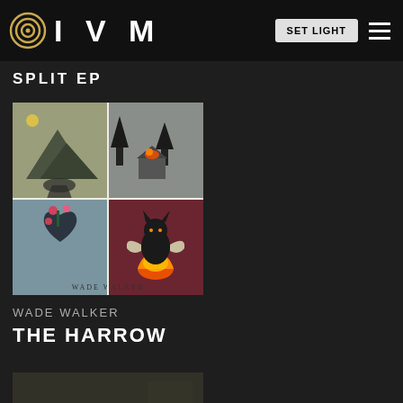IVM
SPLIT EP
[Figure (illustration): Album cover art for The Harrow / Wade Walker split EP. Four quadrant illustration: top-left shows a mountainous landscape with dark smoky clouds; top-right shows a cabin on fire in a forest; bottom-left shows a floral anatomical heart; bottom-right shows a black cat with wings in golden flames. Text 'THE HARROW' in center and 'WADE WALKER' at bottom.]
WADE WALKER
THE HARROW
[Figure (photo): Partially visible album cover, dark tones, bottom of page]